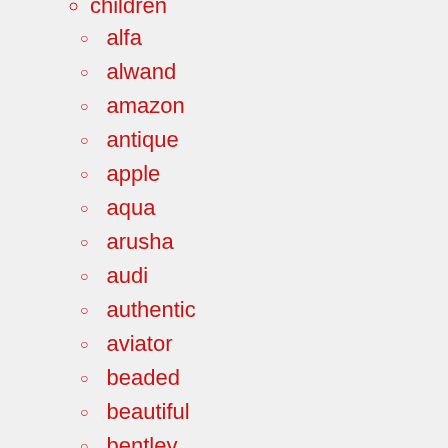children (partial, cut off at top)
alfa
alwand
amazon
antique
apple
aqua
arusha
audi
authentic
aviator
beaded
beautiful
bentley
best
black
blackwhite
brand
breitling (partial, cut off at bottom)